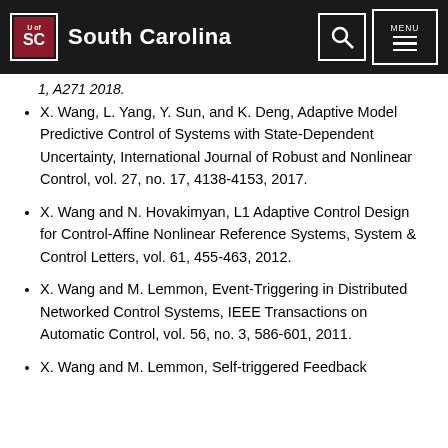University of South Carolina
1, A271 2018.
X. Wang, L. Yang, Y. Sun, and K. Deng, Adaptive Model Predictive Control of Systems with State-Dependent Uncertainty, International Journal of Robust and Nonlinear Control, vol. 27, no. 17, 4138-4153, 2017.
X. Wang and N. Hovakimyan, L1 Adaptive Control Design for Control-Affine Nonlinear Reference Systems, System & Control Letters, vol. 61, 455-463, 2012.
X. Wang and M. Lemmon, Event-Triggering in Distributed Networked Control Systems, IEEE Transactions on Automatic Control, vol. 56, no. 3, 586-601, 2011.
X. Wang and M. Lemmon, Self-triggered Feedback